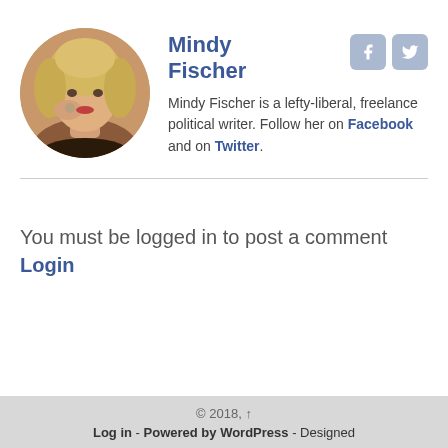[Figure (photo): Circular profile photo of Mindy Fischer, a blonde woman]
Mindy Fischer
[Figure (other): Facebook and Twitter social media icon buttons]
Mindy Fischer is a lefty-liberal, freelance political writer. Follow her on Facebook and on Twitter.
You must be logged in to post a comment Login
© 2018, · Log in - Powered by WordPress - Designed